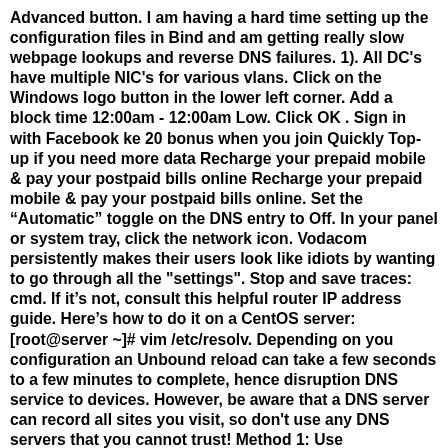Advanced button. I am having a hard time setting up the configuration files in Bind and am getting really slow webpage lookups and reverse DNS failures. 1). All DC's have multiple NIC's for various vlans. Click on the Windows logo button in the lower left corner. Add a block time 12:00am - 12:00am Low. Click OK . Sign in with Facebook ke 20 bonus when you join Quickly Top-up if you need more data Recharge your prepaid mobile & pay your postpaid bills online Recharge your prepaid mobile & pay your postpaid bills online. Set the “Automatic” toggle on the DNS entry to Off. In your panel or system tray, click the network icon. Vodacom persistently makes their users look like idiots by wanting to go through all the "settings". Stop and save traces: cmd. If it’s not, consult this helpful router IP address guide. Here’s how to do it on a CentOS server: [root@server ~]# vim /etc/resolv. Depending on you configuration an Unbound reload can take a few seconds to a few minutes to complete, hence disruption DNS service to devices. However, be aware that a DNS server can record all sites you visit, so don't use any DNS servers that you cannot trust! Method 1: Use NetworkManager applets. X. The DNS server receives the request, looks up the name-to-IP-address mapping for that host, and then provides the A-record with the IP address to the client. 168. When you open the app, you will see different slots for your username, password etc. Check Use the following DNS server address, instead of Obtain DNS